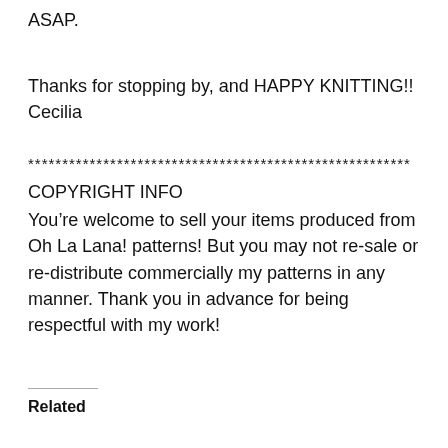ASAP.
Thanks for stopping by, and HAPPY KNITTING!!
Cecilia
********************************************************
COPYRIGHT INFO
You’re welcome to sell your items produced from Oh La Lana! patterns! But you may not re-sale or re-distribute commercially my patterns in any manner. Thank you in advance for being respectful with my work!
Related